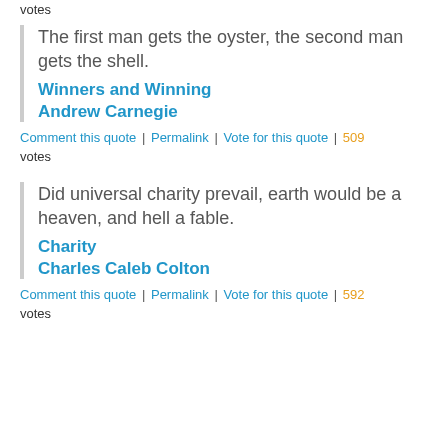votes
The first man gets the oyster, the second man gets the shell.
Winners and Winning
Andrew Carnegie
Comment this quote | Permalink | Vote for this quote | 509 votes
Did universal charity prevail, earth would be a heaven, and hell a fable.
Charity
Charles Caleb Colton
Comment this quote | Permalink | Vote for this quote | 592 votes